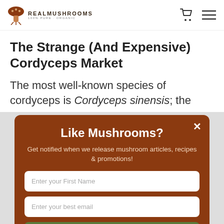REAL MUSHROOMS
The Strange (And Expensive) Cordyceps Market
The most well-known species of cordyceps is Cordyceps sinensis; the
[Figure (screenshot): Modal popup with brown background: title 'Like Mushrooms?', subtitle 'Get notified when we release mushroom articles, recipes & promotions!', two input fields 'Enter your First Name' and 'Enter your best email', a green 'HECK YES!' button, and a 'NO THANKS' text button. A close X button in the top right. A green chat bubble icon in the bottom right.]